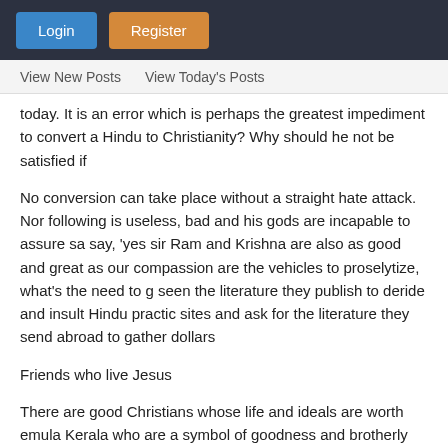Login  Register
View New Posts  View Today's Posts
today. It is an error which is perhaps the greatest impediment to convert a Hindu to Christianity? Why should he not be satisfied if
No conversion can take place without a straight hate attack. Nor following is useless, bad and his gods are incapable to assure sa say, 'yes sir Ram and Krishna are also as good and great as our compassion are the vehicles to proselytize, what's the need to g seen the literature they publish to deride and insult Hindu practic sites and ask for the literature they send abroad to gather dollars
Friends who live Jesus
There are good Christians whose life and ideals are worth emula Kerala who are a symbol of goodness and brotherly behavior. Th items about Russian Orthodox Church opposing a Krishna templ Krishna belongs to our nation.